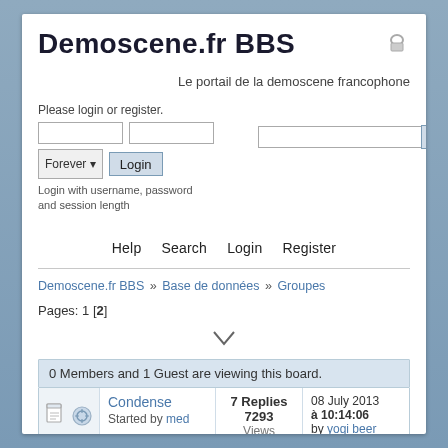Demoscene.fr BBS
Le portail de la demoscene francophone
Please login or register.
Login with username, password and session length
Help  Search  Login  Register
Demoscene.fr BBS » Base de données » Groupes
Pages: 1 [2]
0 Members and 1 Guest are viewing this board.
Condense
Started by med
7 Replies
7293 Views
08 July 2013 à 10:14:06
by yogi beer